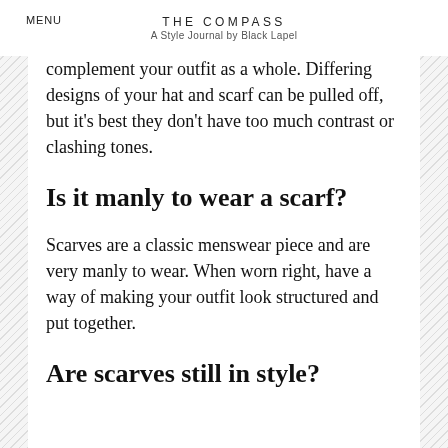MENU
THE COMPASS
A Style Journal by Black Lapel
complement your outfit as a whole. Differing designs of your hat and scarf can be pulled off, but it’s best they don’t have too much contrast or clashing tones.
Is it manly to wear a scarf?
Scarves are a classic menswear piece and are very manly to wear. When worn right, have a way of making your outfit look structured and put together.
Are scarves still in style?